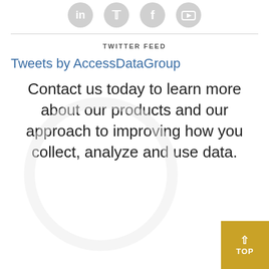[Figure (illustration): Row of four circular grey social media icons: LinkedIn, Twitter, Facebook, YouTube]
TWITTER FEED
Tweets by AccessDataGroup
Contact us today to learn more about our products and our approach to improving how you collect, analyze and use data.